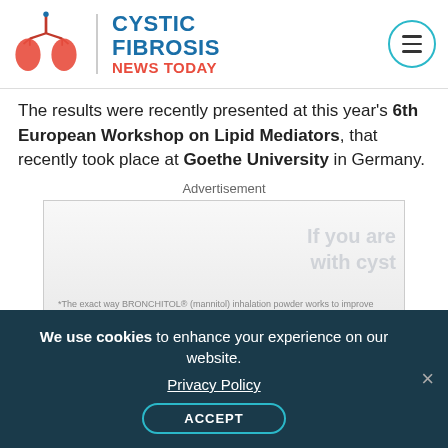Cystic Fibrosis News Today
The results were recently presented at this year's 6th European Workshop on Lipid Mediators, that recently took place at Goethe University in Germany.
Advertisement
[Figure (other): Advertisement banner for BRONCHITOL (mannitol) inhalation powder with partial text overlay reading 'If you are with cyst' and fine print disclaimer at bottom.]
We use cookies to enhance your experience on our website. Privacy Policy ACCEPT